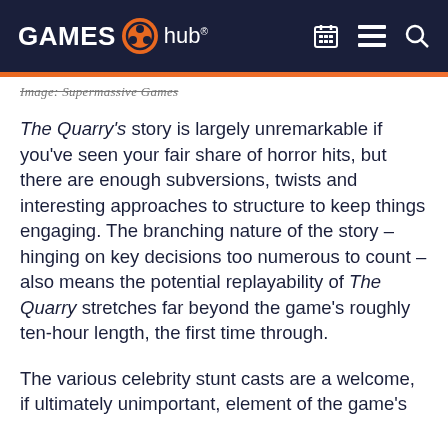GAMES hub
Image: Supermassive Games
The Quarry's story is largely unremarkable if you've seen your fair share of horror hits, but there are enough subversions, twists and interesting approaches to structure to keep things engaging. The branching nature of the story – hinging on key decisions too numerous to count – also means the potential replayability of The Quarry stretches far beyond the game's roughly ten-hour length, the first time through.
The various celebrity stunt casts are a welcome, if ultimately unimportant, element of the game's